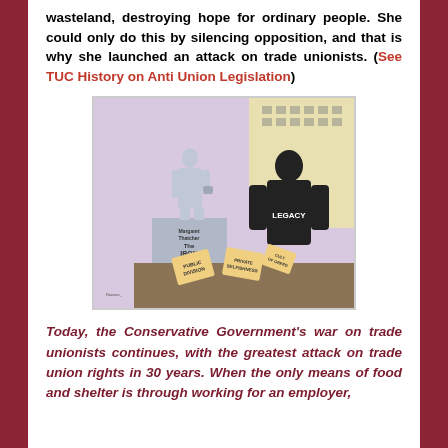wasteland, destroying hope for ordinary people. She could only do this by silencing opposition, and that is why she launched an attack on trade unionists. (See TUC History on Anti Union Legislation)
[Figure (illustration): Political cartoon showing a statue of Margaret Thatcher 'The Iron Lady' on a pedestal, with a dark silhouette figure labeled 'LEGACY' on the right, and rubble/signs at the base including 'PUBLIC DIVISION', 'PRIVATE SELFISHNESS', and other text.]
Today, the Conservative Government's war on trade unionists continues, with the greatest attack on trade union rights in 30 years. When the only means of food and shelter is through working for an employer,